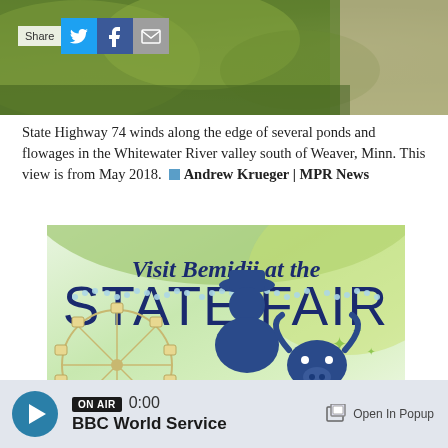[Figure (photo): Photo strip showing grassy field and pathway, with Share bar overlaid showing Twitter, Facebook, and email icons]
State Highway 74 winds along the edge of several ponds and flowages in the Whitewater River valley south of Weaver, Minn. This view is from May 2018. ◼ Andrew Krueger | MPR News
[Figure (illustration): Visit Bemidji at the State Fair advertisement banner with carnival ferris wheel, fairgoer silhouette with hat, bull head, fireworks, and Visit Bemidji logo on green/white background]
ON AIR 0:00 BBC World Service  Open In Popup